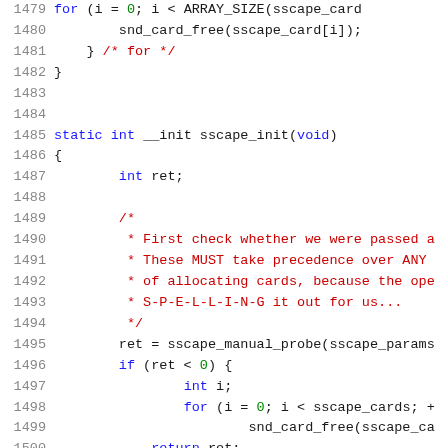[Figure (screenshot): Source code listing in C, lines 1479-1500, showing sscape driver initialization code with syntax highlighting. Keywords in blue, comments in red, numbers in green.]